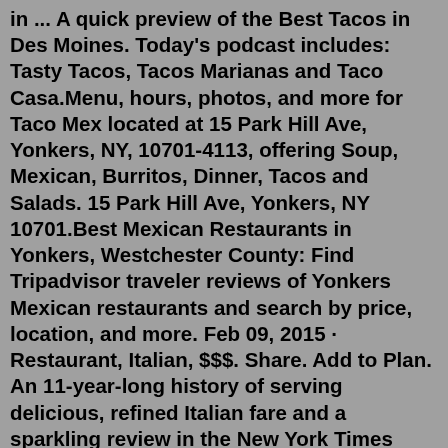in ... A quick preview of the Best Tacos in Des Moines. Today's podcast includes: Tasty Tacos, Tacos Marianas and Taco Casa.Menu, hours, photos, and more for Taco Mex located at 15 Park Hill Ave, Yonkers, NY, 10701-4113, offering Soup, Mexican, Burritos, Dinner, Tacos and Salads. 15 Park Hill Ave, Yonkers, NY 10701.Best Mexican Restaurants in Yonkers, Westchester County: Find Tripadvisor traveler reviews of Yonkers Mexican restaurants and search by price, location, and more. Feb 09, 2015 · Restaurant, Italian, $$$. Share. Add to Plan. An 11-year-long history of serving delicious, refined Italian fare and a sparkling review in the New York Times have Zuppa pegged as one of the best restaurants in Yonkers. Opened in 2003 in downtown Yonkers within a beautifully renovated former printing press warehouse, Zuppa's rustic, inviting ... TaqueRio, Best Mexican food in 1 Van Der Donck St. Yonkers NY 10701, Best Mexican food Pickup, Mexican food delivery 1 Van Der Donck St. Yonkers NY 10701, Yonkers Mexican food delivery, Mexican food ...